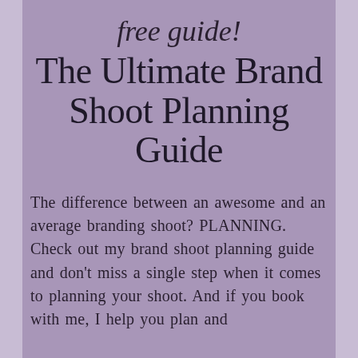free guide!
The Ultimate Brand Shoot Planning Guide
The difference between an awesome and an average branding shoot? PLANNING.
Check out my brand shoot planning guide and don't miss a single step when it comes to planning your shoot. And if you book with me, I help you plan and